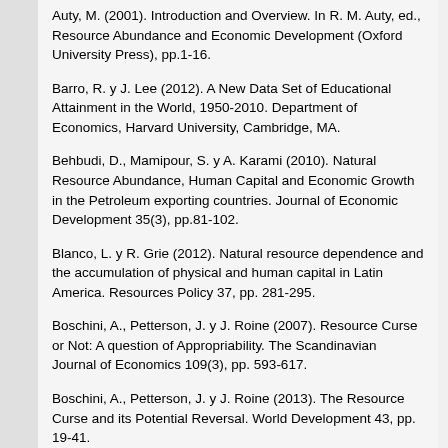Auty, M. (2001). Introduction and Overview. In R. M. Auty, ed., Resource Abundance and Economic Development (Oxford University Press), pp.1-16.
Barro, R. y J. Lee (2012). A New Data Set of Educational Attainment in the World, 1950-2010. Department of Economics, Harvard University, Cambridge, MA.
Behbudi, D., Mamipour, S. y A. Karami (2010). Natural Resource Abundance, Human Capital and Economic Growth in the Petroleum exporting countries. Journal of Economic Development 35(3), pp.81-102.
Blanco, L. y R. Grie (2012). Natural resource dependence and the accumulation of physical and human capital in Latin America. Resources Policy 37, pp. 281-295.
Boschini, A., Petterson, J. y J. Roine (2007). Resource Curse or Not: A question of Appropriability. The Scandinavian Journal of Economics 109(3), pp. 593-617.
Boschini, A., Petterson, J. y J. Roine (2013). The Resource Curse and its Potential Reversal. World Development 43, pp. 19-41.
Bravo-Ortega, C. y J. De Gregorio (2005). The relative richness of the poor? Natural resources, human capital, and economic growth. Policy Research Working Paper Series...